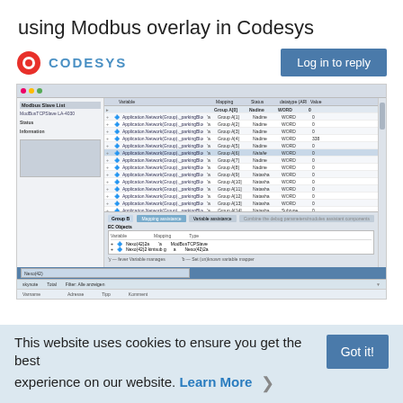using Modbus overlay in Codesys
[Figure (screenshot): Screenshot of Codesys software showing a Modbus TCP slave configuration with a variable mapping table. The table lists Application variables mapped to Modbus registers (Group A and B), with columns for variable name, mapping type, direction (Nadine/Natalia), data type (WORD), and values. A bottom panel shows mapping information with EC Objects and a Variables/Mapping/Type table. Below is a search/results bar.]
This website uses cookies to ensure you get the best experience on our website. Learn More